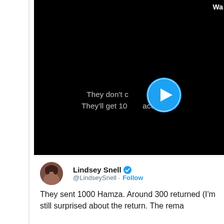[Figure (screenshot): Video thumbnail with black background showing partial text 'They don't c...ple go. They'll get 10...ace them.' with a blue play button overlay. Top right shows 'Wa' text (truncated). This is a Twitter/X embedded video.]
Lindsey Snell @LindseySnell · Follow
They sent 1000 Hamza. Around 300 returned (I'm still surprised about the return. The rema...